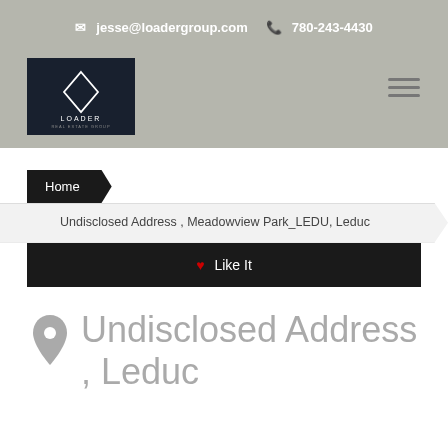jesse@loadergroup.com  780-243-4430
[Figure (logo): Loader Real Estate Group logo — dark background with diamond shape and text 'LOADER REAL ESTATE GROUP']
Home
Undisclosed Address , Meadowview Park_LEDU, Leduc
Like It
Undisclosed Address , Leduc